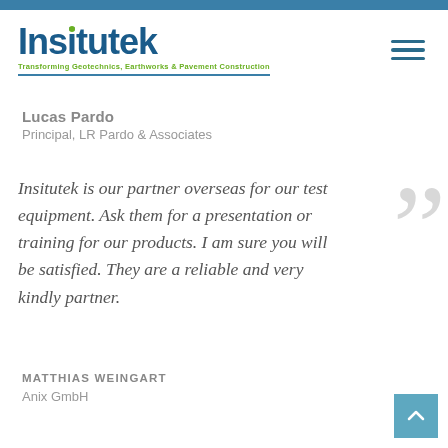[Figure (logo): Insitutek company logo with tagline 'Transforming Geotechnics, Earthworks & Pavement Construction' in blue and green]
Lucas Pardo
Principal, LR Pardo & Associates
Insitutek is our partner overseas for our test equipment. Ask them for a presentation or training for our products. I am sure you will be satisfied. They are a reliable and very kindly partner.
MATTHIAS WEINGART
Anix GmbH